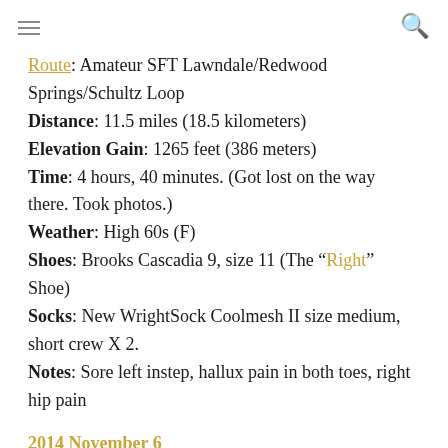≡  🔍
Route: Amateur SFT Lawndale/Redwood Springs/Schultz Loop
Distance: 11.5 miles (18.5 kilometers)
Elevation Gain: 1265 feet (386 meters)
Time: 4 hours, 40 minutes. (Got lost on the way there. Took photos.)
Weather: High 60s (F)
Shoes: Brooks Cascadia 9, size 11 (The "Right" Shoe)
Socks: New WrightSock Coolmesh II size medium, short crew X 2.
Notes: Sore left instep, hallux pain in both toes, right hip pain
2014 November 6
Company: Matt